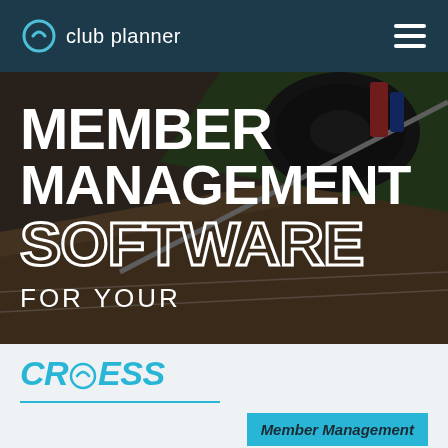club planner
[Figure (screenshot): Hero image of gym equipment (barbell plates, track surface) with overlay text: MEMBER MANAGEMENT SOFTWARE FOR YOUR]
MEMBER MANAGEMENT SOFTWARE FOR YOUR
CROESS
Member Management